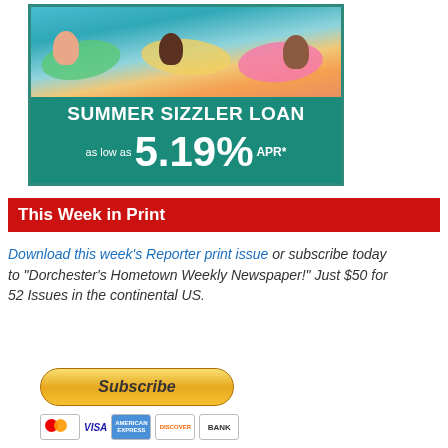[Figure (infographic): Summer Sizzler Loan advertisement with people on pool floats. Teal background. Text: SUMMER SIZZLER LOAN, as low as 5.19% APR*]
This Week in Print
Download this week's Reporter print issue or subscribe today to "Dorchester's Hometown Weekly Newspaper!" Just $50 for 52 Issues in the continental US.
[Figure (illustration): Subscribe button (yellow/gold pill-shaped button with italic bold text 'Subscribe') and payment icons: Mastercard, VISA, American Express, Discover, BANK]